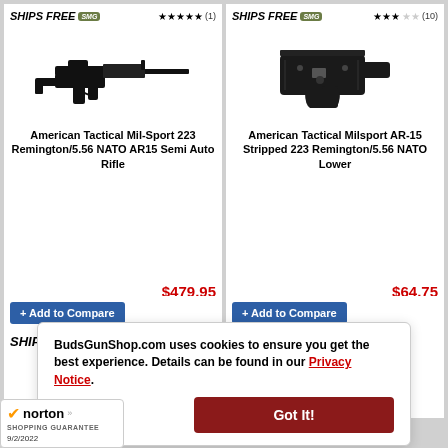[Figure (screenshot): Product listing page from BudsGunShop.com showing two firearms products in the top row: American Tactical Mil-Sport 223 Remington/5.56 NATO AR15 Semi Auto Rifle at $479.95 (5 stars, 1 review) and American Tactical Milsport AR-15 Stripped 223 Remington/5.56 NATO Lower at $64.75 (3.5 stars, 10 reviews). Bottom row shows two more product cards with 'Add to Compare' buttons and 'SHIPS FREE SMG' badges. A cookie consent overlay reads 'BudsGunShop.com uses cookies to ensure you get the best experience. Details can be found in our Privacy Notice.' with a 'Got It!' button. A Norton Shopping Guarantee badge dated 9/2/2022 appears at the bottom left.]